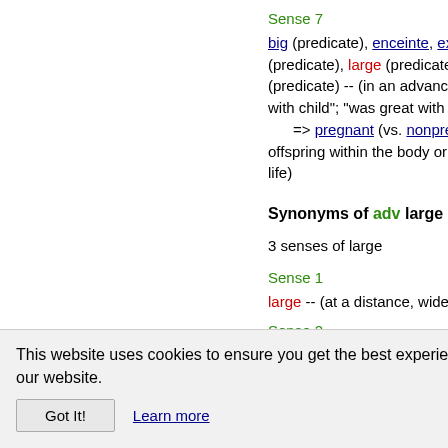Sense 7
big (predicate), enceinte, expecta... (predicate), large (predicate), he... (predicate) -- (in an advanced sta... with child"; "was great with child" => pregnant (vs. nonpregna... offspring within the body or being... life)
Synonyms of adv large
3 senses of large
Sense 1
large -- (at a distance, wide of sc...
Sense 2
large -- (with the wind abaft the b...
Sense 3
boastfully, vauntingly, big, large --
This website uses cookies to ensure you get the best experience on our website.
Got It!  Learn more